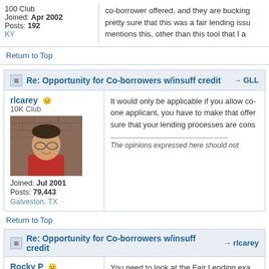100 Club
Joined: Apr 2002
Posts: 192
KY
co-borrower offered, and they are bucking pretty sure that this was a fair lending issu mentions this, other than this tool that I a
Return to Top
Re: Opportunity for Co-borrowers w/insuff credit → GLL
rlcarey
10K Club
Joined: Jul 2001
Posts: 79,443
Galveston, TX
[Figure (photo): Profile photo of rlcarey, a middle-aged man with glasses and dark hair, wearing a red shirt, in front of a brick wall]
It would only be applicable if you allow co- one applicant, you have to make that offer sure that your lending processes are cons
The opinions expressed here should not
Return to Top
Re: Opportunity for Co-borrowers w/insuff credit → rlcarey
Rocky P
You need to look at the Fair Lending exa The following are from the applicable...